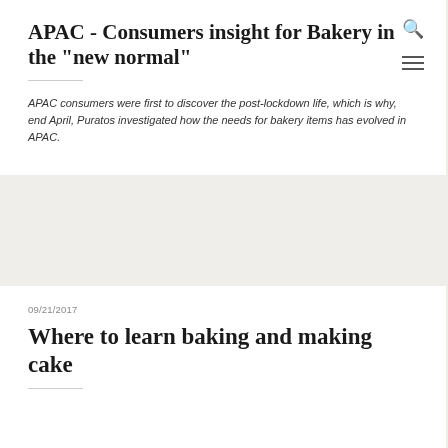search and menu icons
APAC - Consumers insight for Bakery in the "new normal"
APAC consumers were first to discover the post-lockdown life, which is why, end April, Puratos investigated how the needs for bakery items has evolved in APAC.
09/21/2017
Where to learn baking and making cake